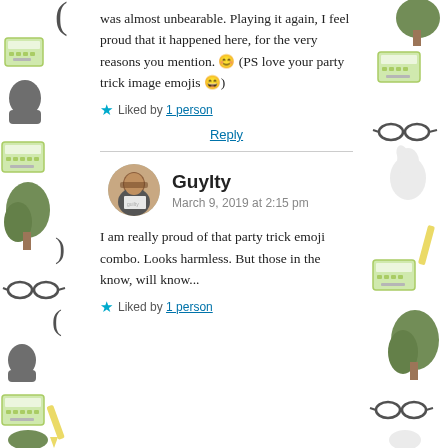was almost unbearable. Playing it again, I feel proud that it happened here, for the very reasons you mention. 😊 (PS love your party trick image emojis 😄)
★ Liked by 1 person
Reply
Guylty
March 9, 2019 at 2:15 pm
I am really proud of that party trick emoji combo. Looks harmless. But those in the know, will know...
★ Liked by 1 person